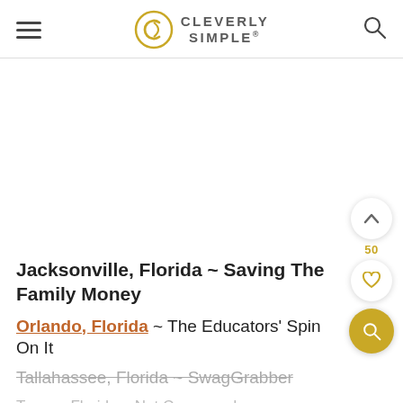Cleverly Simple®
Jacksonville, Florida ~ Saving The Family Money
Orlando, Florida ~ The Educators' Spin On It
Tallahassee, Florida ~ SwagGrabber
Tampa, Florida ~ Not Consumed